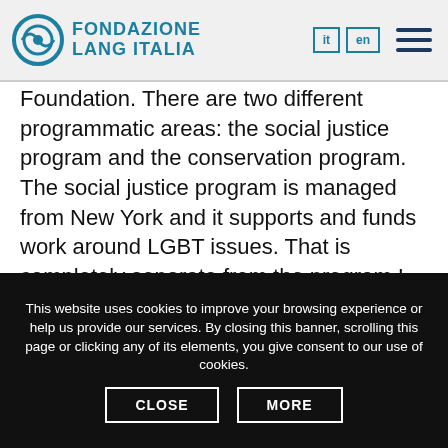Fondazione Lang Italia — it | en | menu
Foundation. There are two different programmatic areas: the social justice program and the conservation program. The social justice program is managed from New York and it supports and funds work around LGBT issues. That is completely separate from the program I work for, the conservation program. I am the program officer, and in this program we have two separate but interlinked programmatic areas: the conservation of great apes in the wild, and the wellbeing of captive [apes]
This website uses cookies to improve your browsing experience or help us provide our services. By closing this banner, scrolling this page or clicking any of its elements, you give consent to our use of cookies.
CLOSE | MORE